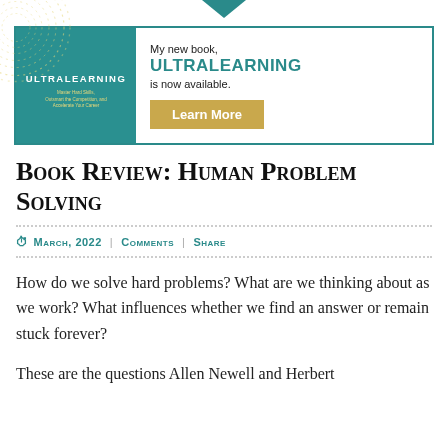[Figure (illustration): Ultralearning book cover advertisement banner. Left side shows teal book cover with white ULTRALEARNING title and concentric dot circle pattern. Right side has text: My new book, ULTRALEARNING is now available. Learn More button in gold/yellow.]
Book Review: Human Problem Solving
March, 2022 | Comments | Share
How do we solve hard problems? What are we thinking about as we work? What influences whether we find an answer or remain stuck forever?
These are the questions Allen Newell and Herbert